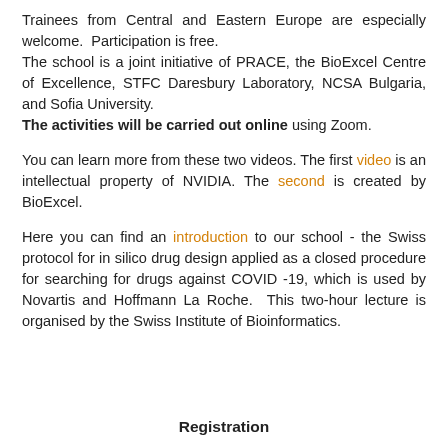Trainees from Central and Eastern Europe are especially welcome. Participation is free.
The school is a joint initiative of PRACE, the BioExcel Centre of Excellence, STFC Daresbury Laboratory, NCSA Bulgaria, and Sofia University.
The activities will be carried out online using Zoom.
You can learn more from these two videos. The first video is an intellectual property of NVIDIA. The second is created by BioExcel.
Here you can find an introduction to our school - the Swiss protocol for in silico drug design applied as a closed procedure for searching for drugs against COVID -19, which is used by Novartis and Hoffmann La Roche. This two-hour lecture is organised by the Swiss Institute of Bioinformatics.
Registration